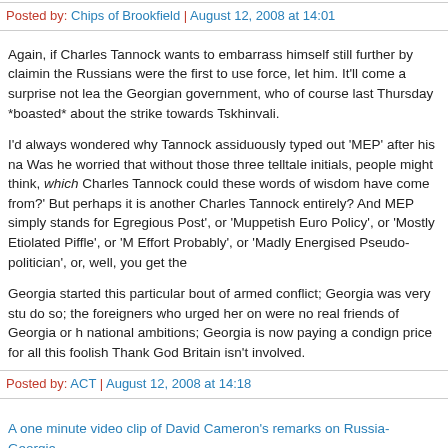Posted by: Chips of Brookfield | August 12, 2008 at 14:01
Again, if Charles Tannock wants to embarrass himself still further by claiming the Russians were the first to use force, let him. It'll come a surprise not least the Georgian government, who of course last Thursday *boasted* about the strike towards Tskhinvali.
I'd always wondered why Tannock assiduously typed out 'MEP' after his name. Was he worried that without those three telltale initials, people might think, 'which Charles Tannock could these words of wisdom have come from?' But perhaps it is another Charles Tannock entirely? And MEP simply stands for Egregious Post', or 'Muppetish Euro Policy', or 'Mostly Etiolated Piffle', or 'M Effort Probably', or 'Madly Energised Pseudo-politician', or, well, you get the
Georgia started this particular bout of armed conflict; Georgia was very stup do so; the foreigners who urged her on were no real friends of Georgia or h national ambitions; Georgia is now paying a condign price for all this foolish Thank God Britain isn't involved.
Posted by: ACT | August 12, 2008 at 14:18
A one minute video clip of David Cameron's remarks on Russia-Georgia.